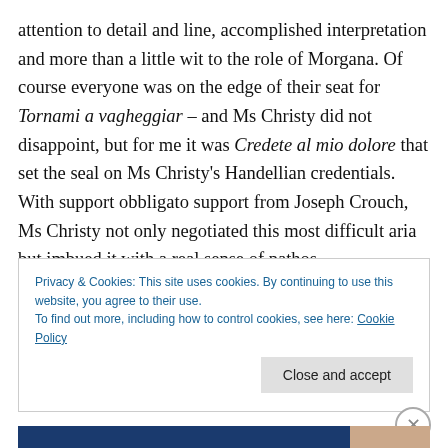attention to detail and line, accomplished interpretation and more than a little wit to the role of Morgana. Of course everyone was on the edge of their seat for Tornami a vagheggiar – and Ms Christy did not disappoint, but for me it was Credete al mio dolore that set the seal on Ms Christy's Handellian credentials. With support obbligato support from Joseph Crouch, Ms Christy not only negotiated this most difficult aria but imbued it with a real sense of pathos.
Privacy & Cookies: This site uses cookies. By continuing to use this website, you agree to their use.
To find out more, including how to control cookies, see here: Cookie Policy